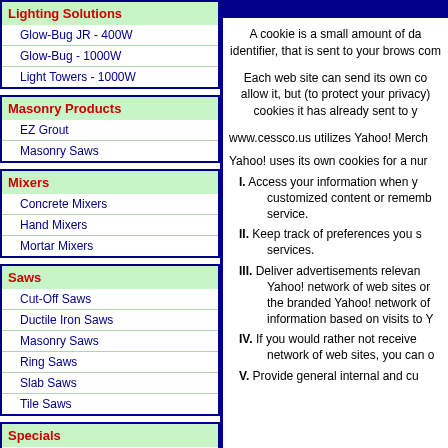Lighting Solutions
Glow-Bug JR - 400W
Glow-Bug - 1000W
Light Towers - 1000W
Masonry Products
EZ Grout
Masonry Saws
Mixers
Concrete Mixers
Hand Mixers
Mortar Mixers
Saws
Cut-Off Saws
Ductile Iron Saws
Masonry Saws
Ring Saws
Slab Saws
Tile Saws
Specials
A cookie is a small amount of da identifier, that is sent to your brows com
Each web site can send its own co allow it, but (to protect your privacy) cookies it has already sent to y
www.cessco.us utilizes Yahoo! Merch
Yahoo! uses its own cookies for a nur
I. Access your information when y customized content or rememb service.
II. Keep track of preferences you s services.
III. Deliver advertisements relevan Yahoo! network of web sites or the branded Yahoo! network of information based on visits to Y
IV. If you would rather not receive network of web sites, you can o
V. Provide general internal and cu